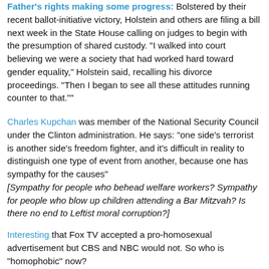Father's rights making some progress: Bolstered by their recent ballot-initiative victory, Holstein and others are filing a bill next week in the State House calling on judges to begin with the presumption of shared custody. "I walked into court believing we were a society that had worked hard toward gender equality," Holstein said, recalling his divorce proceedings. "Then I began to see all these attitudes running counter to that.""
Charles Kupchan was member of the National Security Council under the Clinton administration. He says: "one side's terrorist is another side's freedom fighter, and it's difficult in reality to distinguish one type of event from another, because one has sympathy for the causes" [Sympathy for people who behead welfare workers? Sympathy for people who blow up children attending a Bar Mitzvah? Is there no end to Leftist moral corruption?]
Interesting that Fox TV accepted a pro-homosexual advertisement but CBS and NBC would not. So who is "homophobic" now?